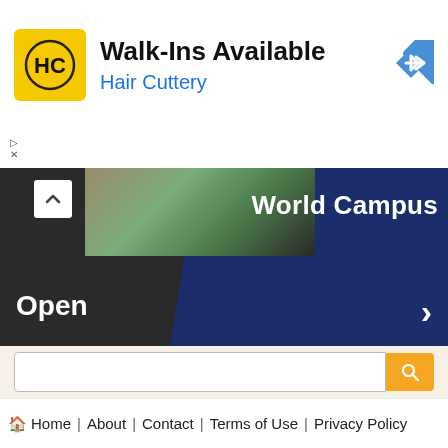[Figure (screenshot): Hair Cuttery advertisement banner with yellow HC logo, 'Walk-Ins Available' heading, 'Hair Cuttery' subtext in blue, and a blue navigation arrow icon on the right]
[Figure (screenshot): Penn State World Campus promotional banner with dark background, photo of plants/outdoor area, chevron/up arrow, 'Open' text bottom-left, 'World Campus' text top-right, and right arrow bottom-right]
[Figure (screenshot): Search bar on cream/beige background with white input field and orange search button with magnifying glass icon]
Home | About | Contact | Terms of Use | Privacy Policy